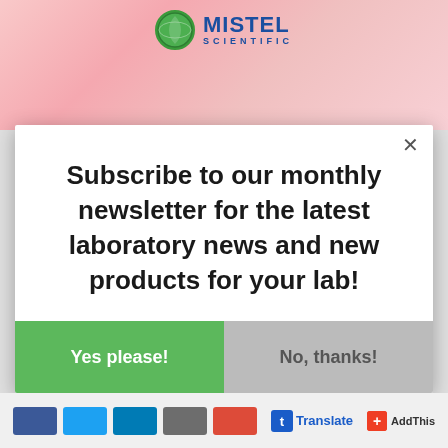[Figure (logo): Mistel Scientific logo with green globe icon and blue text 'MISTEL SCIENTIFIC' on a pink/rose background]
×
Subscribe to our monthly newsletter for the latest laboratory news and new products for your lab!
Yes please!
No, thanks!
[Figure (infographic): Bottom bar with social media buttons (Facebook, Twitter, LinkedIn, Email, Google+) and Translate/AddThis links]